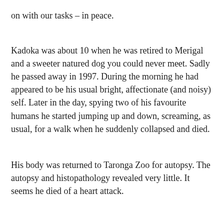on with our tasks – in peace.
Kadoka was about 10 when he was retired to Merigal and a sweeter natured dog you could never meet. Sadly he passed away in 1997. During the morning he had appeared to be his usual bright, affectionate (and noisy) self. Later in the day, spying two of his favourite humans he started jumping up and down, screaming, as usual, for a walk when he suddenly collapsed and died.
His body was returned to Taronga Zoo for autopsy. The autopsy and histopathology revealed very little. It seems he died of a heart attack.